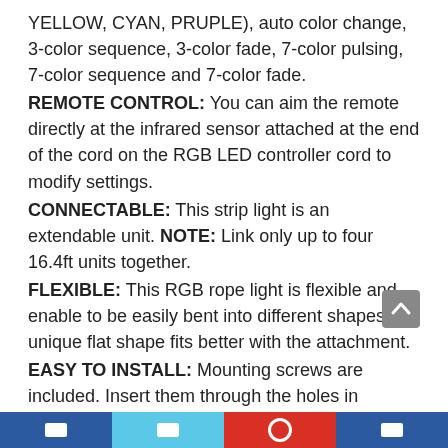YELLOW, CYAN, PRUPLE), auto color change, 3-color sequence, 3-color fade, 7-color pulsing, 7-color sequence and 7-color fade.
REMOTE CONTROL: You can aim the remote directly at the infrared sensor attached at the end of the cord on the RGB LED controller cord to modify settings.
CONNECTABLE: This strip light is an extendable unit. NOTE: Link only up to four 16.4ft units together.
FLEXIBLE: This RGB rope light is flexible and enable to be easily bent into different shapes. Its unique flat shape fits better with the attachment.
EASY TO INSTALL: Mounting screws are included. Insert them through the holes in the mounting slips.
SAFE TO USE: The plug contains an electrical 8-amp fuse as a safety feature.
COMMERCIAL GRADE: The Heavy Duty Clear PVC Tube,